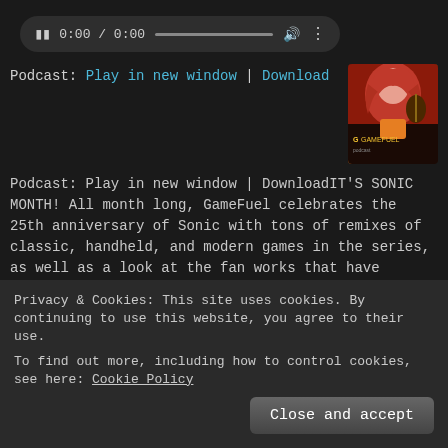[Figure (screenshot): Audio player bar with pause icon, time 0:00 / 0:00, progress bar, volume icon, and menu icon on dark rounded background]
Podcast: Play in new window | Download
[Figure (illustration): GameFuel podcast artwork showing an animated red-haired woman with guitar-themed imagery and GameFuel logo]
Podcast: Play in new window | DownloadIT'S SONIC MONTH! All month long, GameFuel celebrates the 25th anniversary of Sonic with tons of remixes of classic, handheld, and modern games in the series, as well as a look at the fan works that have become a staple of the franchise. This week, modern's the way we ...
Continue reading 'GameFuel #169: Alacrity (Sonic Month Part 3 – Modern Era)' »
Filed under GameFuel (Inactive) | Tagged 2 Gryphon, anniversary, Argle, Benjamin Briggs, Bentley Jones, Birthday, Brett Garsed, Cosmic Sounds, Crush 40, Dwelling of Duels, FAB, FXited, Folly, Footemark, fishberd, General Offensive, Halcely, Harmony
Privacy & Cookies: This site uses cookies. By continuing to use this website, you agree to their use.
To find out more, including how to control cookies, see here: Cookie Policy